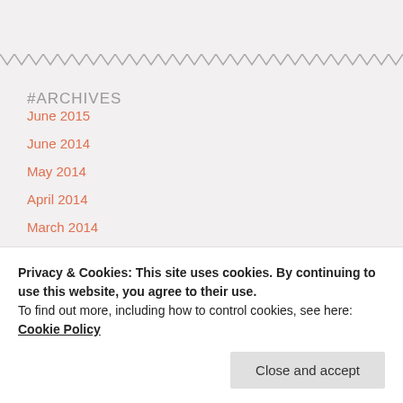#ARCHIVES
June 2015
June 2014
May 2014
April 2014
March 2014
February 2014
Privacy & Cookies: This site uses cookies. By continuing to use this website, you agree to their use.
To find out more, including how to control cookies, see here: Cookie Policy
Close and accept